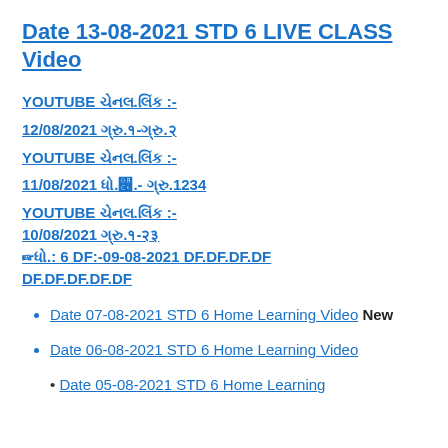Date 13-08-2021 STD 6 LIVE CLASS Video
YOUTUBE ચેનલ.લિંક :- 12/08/2021 ગ્રુ.૧-ગ્રુ.૨ YOUTUBE ચેનલ.લિંક :- 11/08/2021 ધો.૬.- ગ્રુ.1234 YOUTUBE ચેનલ.લિંક :- 10/08/2021 ગ્રુ.૧-૨૩ ☞ ધો.: 6 DF:-09-08-2021 DF.DF.DF DF.DF.DF.DF
Date 07-08-2021 STD 6 Home Learning Video New
Date 06-08-2021 STD 6 Home Learning Video
Date 05-08-2021 STD 6 Home Learning